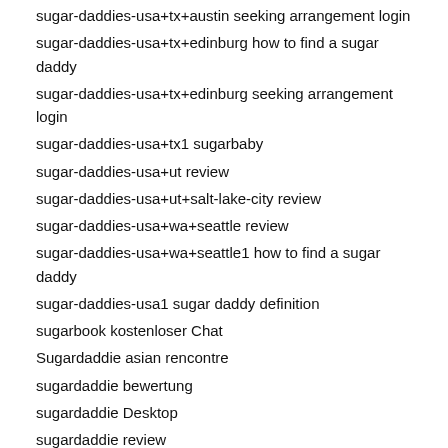sugar-daddies-usa+tx+austin seeking arrangement login
sugar-daddies-usa+tx+edinburg how to find a sugar daddy
sugar-daddies-usa+tx+edinburg seeking arrangement login
sugar-daddies-usa+tx1 sugarbaby
sugar-daddies-usa+ut review
sugar-daddies-usa+ut+salt-lake-city review
sugar-daddies-usa+wa+seattle review
sugar-daddies-usa+wa+seattle1 how to find a sugar daddy
sugar-daddies-usa1 sugar daddy definition
sugarbook kostenloser Chat
Sugardaddie asian rencontre
sugardaddie bewertung
sugardaddie Desktop
sugardaddie review
sugardaddie fr come funziona